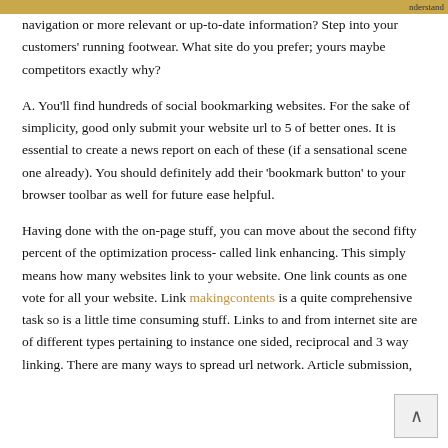nderstand
navigation or more relevant or up-to-date information? Step into your customers' running footwear. What site do you prefer; yours maybe competitors exactly why?
A. You'll find hundreds of social bookmarking websites. For the sake of simplicity, good only submit your website url to 5 of better ones. It is essential to create a news report on each of these (if a sensational scene one already). You should definitely add their 'bookmark button' to your browser toolbar as well for future ease helpful.
Having done with the on-page stuff, you can move about the second fifty percent of the optimization process- called link enhancing. This simply means how many websites link to your website. One link counts as one vote for all your website. Link makingcontents is a quite comprehensive task so is a little time consuming stuff. Links to and from internet site are of different types pertaining to instance one sided, reciprocal and 3 way linking. There are many ways to spread url network. Article submission,